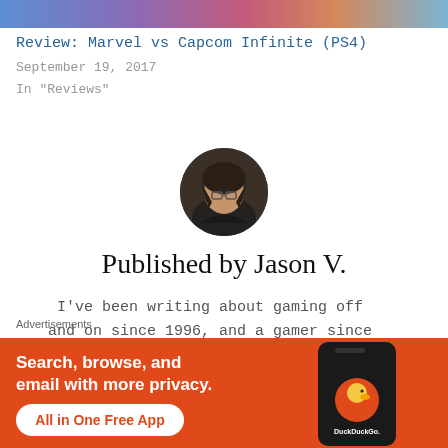[Figure (photo): Colorful gradient image strip at top of page]
Review: Marvel vs Capcom Infinite (PS4)
September 19, 2017
In "Reviews"
[Figure (photo): Circular avatar photo of Jason V., a person wearing glasses]
Published by Jason V.
I've been writing about gaming off and on since 1996, and a gamer since
Advertisements
[Figure (infographic): DuckDuckGo advertisement banner: Search, browse, and email with more privacy. All in One Free App]